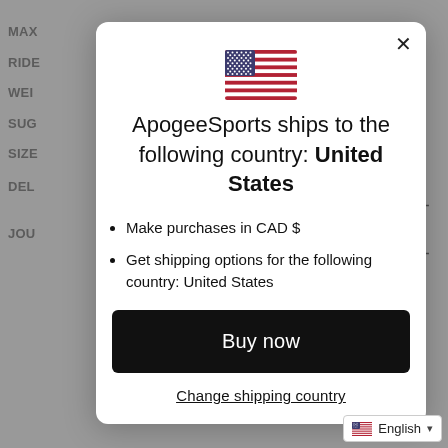MAX
RIDE
WEI
SUG
SIZE
DEL
JOU
[Figure (illustration): US flag emoji/icon displayed at top center of modal dialog]
ApogeeSports ships to the following country: United States
Make purchases in CAD $
Get shipping options for the following country: United States
Buy now
Change shipping country
English